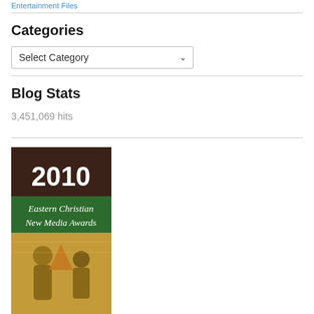Entertainment Files
Categories
Select Category (dropdown)
Blog Stats
3,451,069 hits
[Figure (illustration): 2010 Eastern Christian New Media Awards book/badge cover with dark brown top section showing '2010' in large white text, green banner reading 'Eastern Christian New Media Awards', and a gold icon image below with a religious icon painting showing figures on a golden background.]